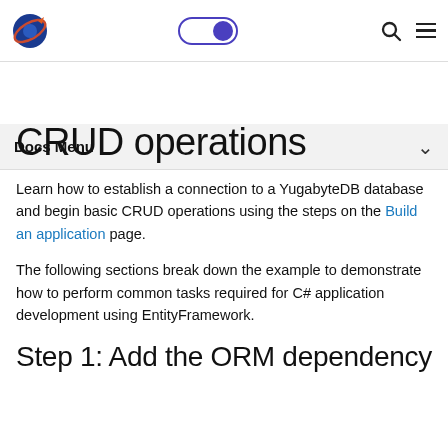Docs Menu
CRUD operations
Learn how to establish a connection to a YugabyteDB database and begin basic CRUD operations using the steps on the Build an application page.
The following sections break down the example to demonstrate how to perform common tasks required for C# application development using EntityFramework.
Step 1: Add the ORM dependency